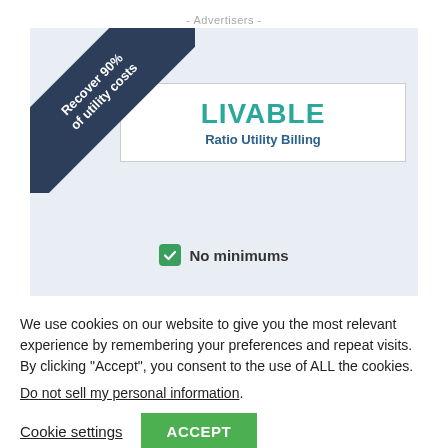- Advertisers -
[Figure (infographic): Livable Ratio Utility Billing advertisement showing a dark navy ribbon banner reading 'Recover 90% of utility costs', a white box with 'LIVABLE / Ratio Utility Billing', and a green checkbox with 'No minimums']
We use cookies on our website to give you the most relevant experience by remembering your preferences and repeat visits. By clicking “Accept”, you consent to the use of ALL the cookies.
Do not sell my personal information.
Cookie settings   ACCEPT
[Figure (logo): TrustedSite logo with green checkmark in a box and text 'TrustedSite']